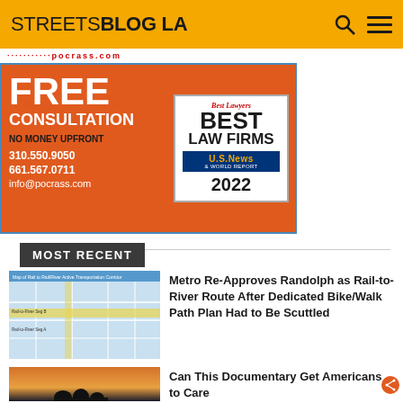STREETSBLOG LA
[Figure (illustration): Advertisement for Pocrass law firm: FREE CONSULTATION, NO MONEY UPFRONT, 310.550.9050, 661.567.0711, info@pocrass.com. Best Lawyers BEST LAW FIRMS U.S. News & World Report 2022 badge.]
MOST RECENT
[Figure (map): Map of Rail to Rail/River Active Transportation Corridor]
Metro Re-Approves Randolph as Rail-to-River Route After Dedicated Bike/Walk Path Plan Had to Be Scuttled
[Figure (photo): Silhouette of people against a sunset sky]
Can This Documentary Get Americans to Care